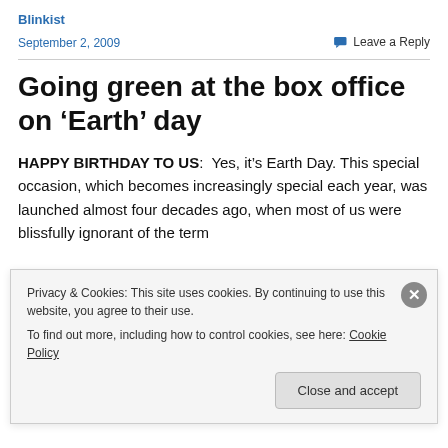Blinkist
September 2, 2009
Leave a Reply
Going green at the box office on ‘Earth’ day
HAPPY BIRTHDAY TO US:  Yes, it’s Earth Day. This special occasion, which becomes increasingly special each year, was launched almost four decades ago, when most of us were blissfully ignorant of the term
Privacy & Cookies: This site uses cookies. By continuing to use this website, you agree to their use.
To find out more, including how to control cookies, see here: Cookie Policy
Close and accept